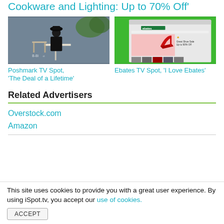Cookware and Lighting: Up to 70% Off'
[Figure (photo): TV spot scene: person in black sitting at outdoor cafe table, storefronts and trees in background]
Poshmark TV Spot, 'The Deal of a Lifetime'
[Figure (screenshot): Screenshot of Ebates website showing a red high heel shoe sale, 'Great Shoe Sale Up to 90% Off' on green background]
Ebates TV Spot, 'I Love Ebates'
Related Advertisers
Overstock.com
Amazon
This site uses cookies to provide you with a great user experience. By using iSpot.tv, you accept our use of cookies.
ACCEPT